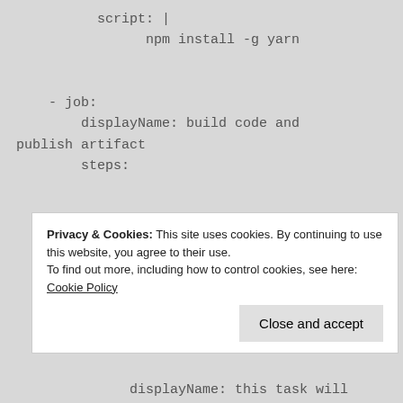script: |
        npm install -g yarn

    - job:
        displayName: build code and publish artifact
        steps:

            - task: PowerShell@2
              displayName: build code
              inputs:
                targetType: 'inline'
Privacy & Cookies: This site uses cookies. By continuing to use this website, you agree to their use.
To find out more, including how to control cookies, see here: Cookie Policy
Close and accept
displayName: this task will